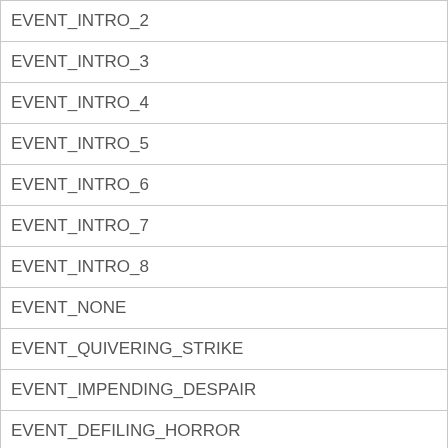| EVENT_INTRO_2 |
| EVENT_INTRO_3 |
| EVENT_INTRO_4 |
| EVENT_INTRO_5 |
| EVENT_INTRO_6 |
| EVENT_INTRO_7 |
| EVENT_INTRO_8 |
| EVENT_NONE |
| EVENT_QUIVERING_STRIKE |
| EVENT_IMPENDING_DESPAIR |
| EVENT_DEFILING_HORROR |
| EVENT_NONE |
| EVENT_OBLITERATE |
| EVENT_WELL_OF_CORRUPTION |
| EVENT_CORRUPTED_FLESH |
| EVENT_SHARED_SUFFERING |